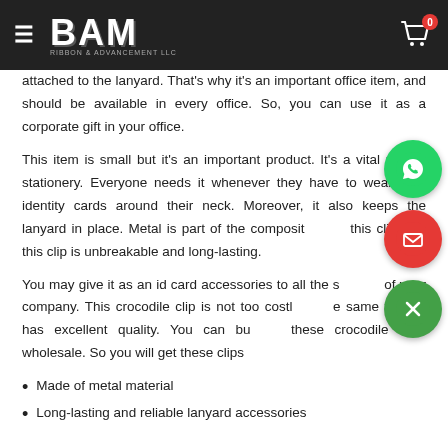BAM - Ribbon & Advancement LLC
attached to the lanyard. That's why it's an important office item, and should be available in every office. So, you can use it as a corporate gift in your office.
This item is small but it's an important product. It's a vital part of stationery. Everyone needs it whenever they have to wear their identity cards around their neck. Moreover, it also keeps the lanyard in place. Metal is part of the composite of this clip. So, this clip is unbreakable and long-lasting.
You may give it as an id card accessories to all the staff of your company. This crocodile clip is not too costly. At the same time, it has excellent quality. You can buy these crocodile clips wholesale. So you will get these clips at
Made of metal material
Long-lasting and reliable lanyard accessories